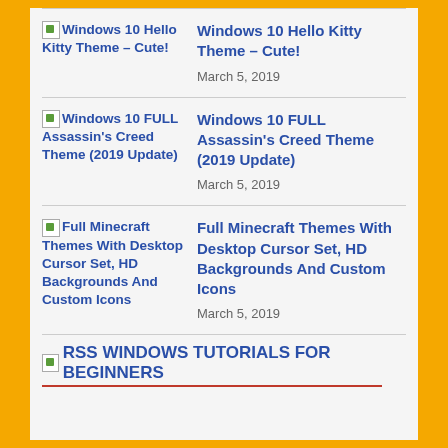Windows 10 Hello Kitty Theme – Cute! | March 5, 2019
Windows 10 FULL Assassin's Creed Theme (2019 Update) | March 5, 2019
Full Minecraft Themes With Desktop Cursor Set, HD Backgrounds And Custom Icons | March 5, 2019
RSS WINDOWS TUTORIALS FOR BEGINNERS